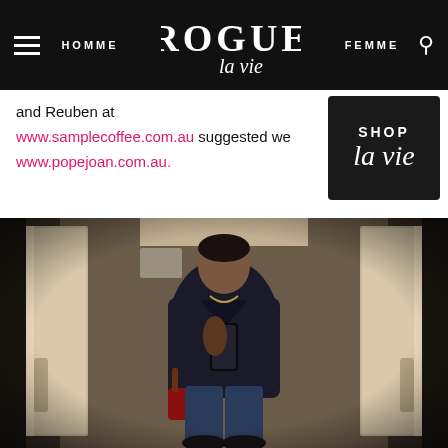HOMME | ROGUE la vie | FEMME
and Reuben at www.samplecoffee.com.au suggested we www.popejoan.com.au.
[Figure (photo): Man taking an elevator mirror selfie wearing a dark blazer and jeans, holding a bag, with elevator doors visible on both sides.]
[Figure (logo): SHOP la vie badge — black square with SHOP in uppercase and 'la vie' in cursive script below.]